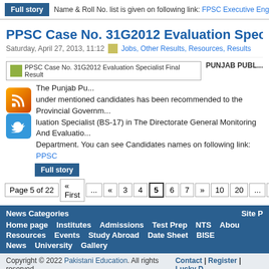Full story  Name & Roll No. list is given on following link: FPSC Executive Engi...
PPSC Case No. 31G2012 Evaluation Speciali...
Saturday, April 27, 2013, 11:12   Jobs, Other Results, Resources, Results
[Figure (screenshot): PPSC Case No. 31G2012 Evaluation Specialist Final Result image thumbnail with RSS and Twitter social icons]
PUNJAB PUBL... The Punjab Pu... under mentioned candidates has been recommended to the Provincial Governm... luation Specialist (BS-17) in The Directorate General Monitoring And Evaluatio... Department. You can see Candidates names on following link: PPSC...
Full story
Page 5 of 22  « First  ...  «  3  4  5  6  7  »  10  20  ...  Last
News Categories   Site P...
Home page   Institutes   Admissions   Test Prep   NTS   Abou...
Resources   Events   Study Abroad   Date Sheet   BISE
News   University   Gallery
Copyright © 2022 Pakistani Education. All rights reserved.   Contact | Register | Lucky D...